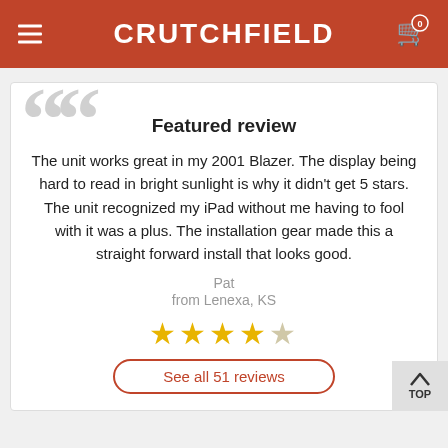CRUTCHFIELD
Featured review
The unit works great in my 2001 Blazer. The display being hard to read in bright sunlight is why it didn't get 5 stars. The unit recognized my iPad without me having to fool with it was a plus. The installation gear made this a straight forward install that looks good.
Pat
from Lenexa, KS
[Figure (other): 4 out of 5 stars rating]
See all 51 reviews